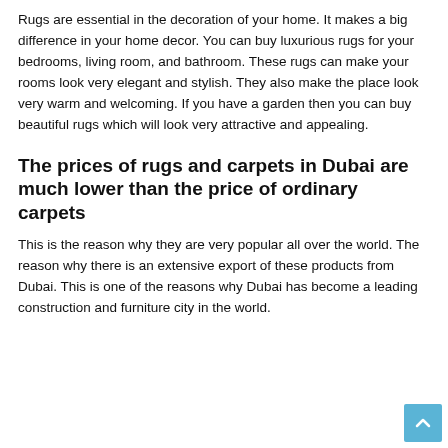Rugs are essential in the decoration of your home. It makes a big difference in your home decor. You can buy luxurious rugs for your bedrooms, living room, and bathroom. These rugs can make your rooms look very elegant and stylish. They also make the place look very warm and welcoming. If you have a garden then you can buy beautiful rugs which will look very attractive and appealing.
The prices of rugs and carpets in Dubai are much lower than the price of ordinary carpets
This is the reason why they are very popular all over the world. The reason why there is an extensive export of these products from Dubai. This is one of the reasons why Dubai has become a leading construction and furniture city in the world.